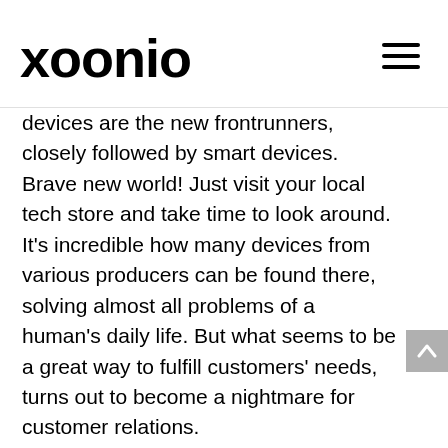xoonio
devices are the new frontrunners, closely followed by smart devices. Brave new world! Just visit your local tech store and take time to look around. It's incredible how many devices from various producers can be found there, solving almost all problems of a human's daily life. But what seems to be a great way to fulfill customers' needs, turns out to become a nightmare for customer relations.
Of course, Facebook, Google and other newcomers like TikTok are enthusiastic about what happens. No wonder, as Social Media seemed to be the only way to reach out to desperate people in their homes.